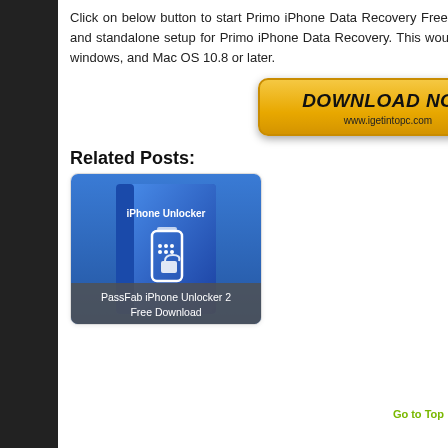Click on below button to start Primo iPhone Data Recovery Free Download. This is complete offline installer and standalone setup for Primo iPhone Data Recovery. This would be compatible with both 32 bit and 64 bit windows, and Mac OS 10.8 or later.
[Figure (other): Yellow download button with bold italic text 'DOWNLOAD NOW' and URL 'www.igetintopc.com']
Related Posts:
[Figure (other): Product box image for PassFab iPhone Unlocker software with blue gradient background showing phone and lock icon]
PassFab iPhone Unlocker 2 Free Download
Go to Top